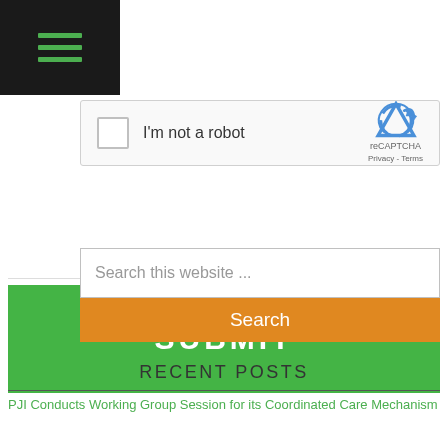[Figure (screenshot): Navigation hamburger menu icon with three green horizontal lines on black background]
[Figure (screenshot): reCAPTCHA widget with checkbox labeled 'I'm not a robot' and reCAPTCHA logo with Privacy and Terms links]
SUBMIT
Search this website ...
Search
RECENT POSTS
PJI Conducts Working Group Session for its Coordinated Care Mechanism